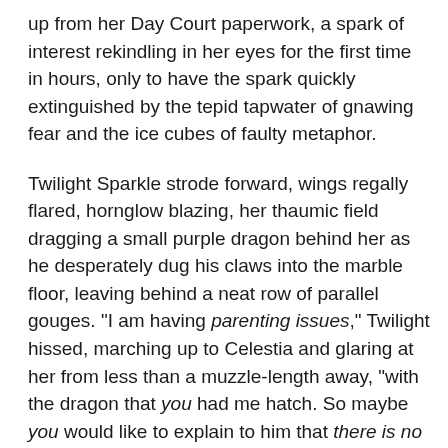up from her Day Court paperwork, a spark of interest rekindling in her eyes for the first time in hours, only to have the spark quickly extinguished by the tepid tapwater of gnawing fear and the ice cubes of faulty metaphor.
Twilight Sparkle strode forward, wings regally flared, hornglow blazing, her thaumic field dragging a small purple dragon behind her as he desperately dug his claws into the marble floor, leaving behind a neat row of parallel gouges. "I am having parenting issues," Twilight hissed, marching up to Celestia and glaring at her from less than a muzzle-length away, "with the dragon that you had me hatch. So maybe you would like to explain to him that there is no such thing as an Alicorn of Adventuring."